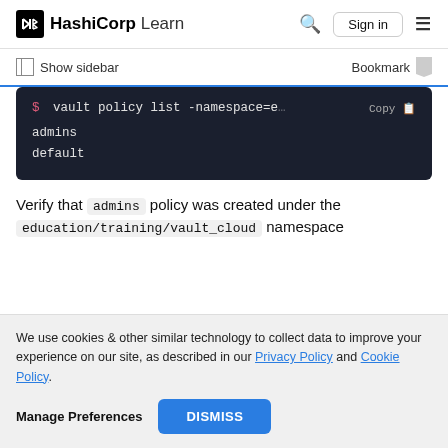HashiCorp Learn  Sign in
Show sidebar  Bookmark
[Figure (screenshot): Dark terminal code block showing: $ vault policy list -namespace=e(truncated)  Copy, admins, default]
Verify that admins policy was created under the education/training/vault_cloud namespace
We use cookies & other similar technology to collect data to improve your experience on our site, as described in our Privacy Policy and Cookie Policy. Manage Preferences  DISMISS